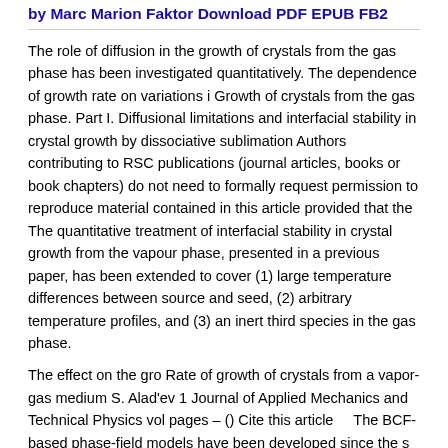by Marc Marion Faktor Download PDF EPUB FB2
The role of diffusion in the growth of crystals from the gas phase has been investigated quantitatively. The dependence of growth rate on variations i Growth of crystals from the gas phase. Part I. Diffusional limitations and interfacial stability in crystal growth by dissociative sublimation Authors contributing to RSC publications (journal articles, books or book chapters) do not need to formally request permission to reproduce material contained in this article provided that the The quantitative treatment of interfacial stability in crystal growth from the vapour phase, presented in a previous paper, has been extended to cover (1) large temperature differences between source and seed, (2) arbitrary temperature profiles, and (3) an inert third species in the gas phase.
The effect on the gro Rate of growth of crystals from a vapor-gas medium S. Alad'ev 1 Journal of Applied Mechanics and Technical Physics vol pages – () Cite this article    The BCF-based phase-field models have been developed since the s for a series of problems related to crystal growth, including collective step motions in Growth of